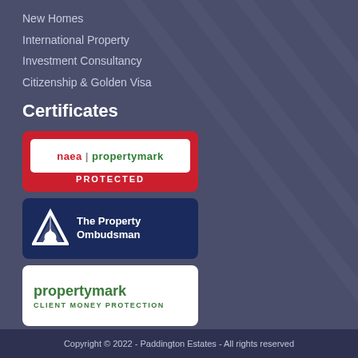New Homes
International Property
Investment Consultancy
Citizenship & Golden Visa
Certificates
[Figure (logo): NAEA Propertymark Protected badge - red background with white rounded rectangle containing 'naea | propertymark' text in red and green, with 'PROTECTED' in white text below]
[Figure (logo): The Property Ombudsman badge - dark navy blue background with white triangle/mountain logo and white text 'The Property Ombudsman']
[Figure (logo): Propertymark Client Money Protection badge - white background with green 'propertymark' text and 'CLIENT MONEY PROTECTION' subtitle in green]
Copyright © 2022 - Paddington Estates - All rights reserved